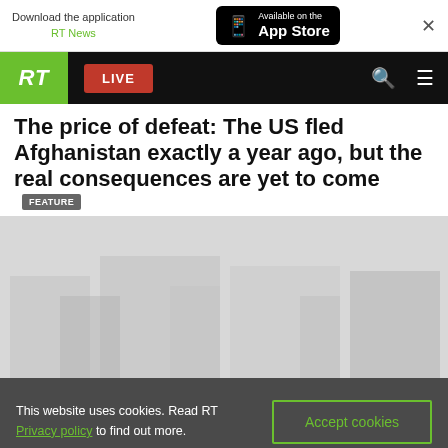Download the application RT News | Available on the App Store
RT LIVE
The price of defeat: The US fled Afghanistan exactly a year ago, but the real consequences are yet to come FEATURE
[Figure (photo): Faded background image related to Afghanistan/US withdrawal]
This website uses cookies. Read RT Privacy policy to find out more. Accept cookies